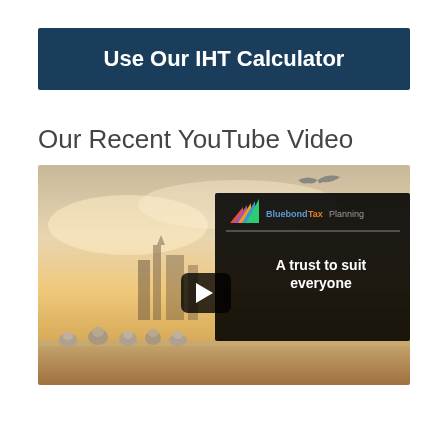Use Our IHT Calculator
Our Recent YouTube Video
[Figure (screenshot): YouTube video thumbnail showing birds on a ledge with London cityscape at sunset, overlaid with a Bluebond Tax Planning branded card reading 'A trust to suit everyone']